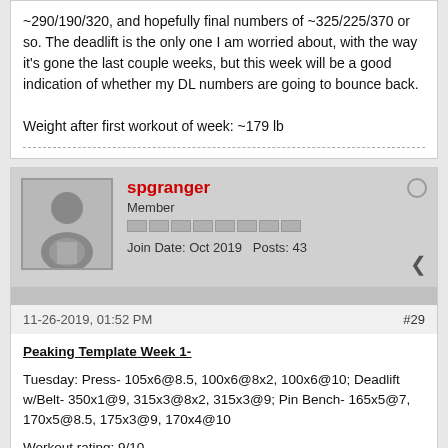~290/190/320, and hopefully final numbers of ~325/225/370 or so. The deadlift is the only one I am worried about, with the way it's gone the last couple weeks, but this week will be a good indication of whether my DL numbers are going to bounce back.

Weight after first workout of week: ~179 lb
spgranger
Member
Join Date: Oct 2019   Posts: 43
11-26-2019, 01:52 PM
#29
Peaking Template Week 1-
Tuesday: Press- 105x6@8.5, 100x6@8x2, 100x6@10; Deadlift w/Belt- 350x1@9, 315x3@8x2, 315x3@9; Pin Bench- 165x5@7, 170x5@8.5, 175x3@9, 170x4@10
Workout rating: 9/10
Previous night's sleep: ~8 hours uninterrupted
Overall a good workout. Finally hit that 350 DL that I had failed on 2 weeks in a row- I rated it as an RPE 9 when it was supposed to be an 8, but that's ok. Pin bench was kind of a mess- I had a lot of accumulated fatigue built up